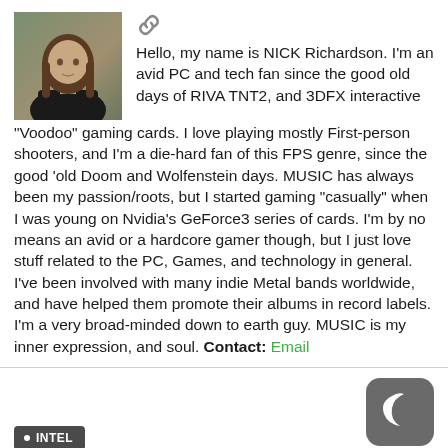[Figure (photo): Headshot photo of Nick Richardson, a man with long hair wearing a dark jacket, outdoors with trees in background]
[Figure (other): Chain link / hyperlink icon in gray]
Hello, my name is NICK Richardson. I'm an avid PC and tech fan since the good old days of RIVA TNT2, and 3DFX interactive "Voodoo" gaming cards. I love playing mostly First-person shooters, and I'm a die-hard fan of this FPS genre, since the good 'old Doom and Wolfenstein days. MUSIC has always been my passion/roots, but I started gaming "casually" when I was young on Nvidia's GeForce3 series of cards. I'm by no means an avid or a hardcore gamer though, but I just love stuff related to the PC, Games, and technology in general. I've been involved with many indie Metal bands worldwide, and have helped them promote their albums in record labels. I'm a very broad-minded down to earth guy. MUSIC is my inner expression, and soul. Contact: Email
[Figure (logo): Dark gray rounded square icon with a crescent moon (Crello/dark mode icon)]
• INTEL